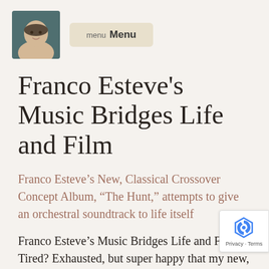[Figure (photo): Portrait photo of a young man wearing a hat, used as a profile/avatar image]
menu Menu
Franco Esteve's Music Bridges Life and Film
Franco Esteve’s New, Classical Crossover Concept Album, “The Hunt,” attempts to give an orchestral soundtrack to life itself
Franco Esteve’s Music Bridges Life and Film Tired? Exhausted, but super happy that my new, modern classical crossover concept album, The Hunt is finally